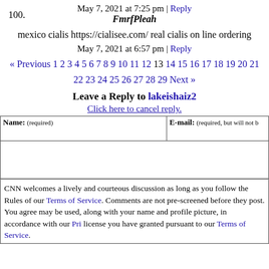May 7, 2021 at 7:25 pm | Reply
100. FmrfPleah
mexico cialis https://cialisee.com/ real cialis on line ordering
May 7, 2021 at 6:57 pm | Reply
« Previous 1 2 3 4 5 6 7 8 9 10 11 12 13 14 15 16 17 18 19 20 21 22 23 24 25 26 27 28 29 Next »
Leave a Reply to lakeishaiz2
Click here to cancel reply.
| Name: (required) | E-mail: (required, but will not be published) |
| --- | --- |
|   |   |
CNN welcomes a lively and courteous discussion as long as you follow the Rules of Behavior listed in our Terms of Service. Comments are not pre-screened before they post. You agree that anything you post may be used, along with your name and profile picture, in accordance with our Pri... license you have granted pursuant to our Terms of Service.